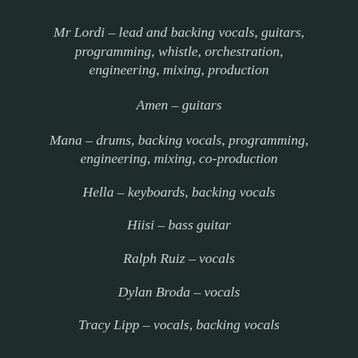Mr Lordi – lead and backing vocals, guitars, programming, whistle, orchestration, engineering, mixing, production
Amen – guitars
Mana – drums, backing vocals, programming, engineering, mixing, co-production
Hella – keyboards, backing vocals
Hiisi – bass guitar
Ralph Ruiz – vocals
Dylan Broda – vocals
Tracy Lipp – vocals, backing vocals